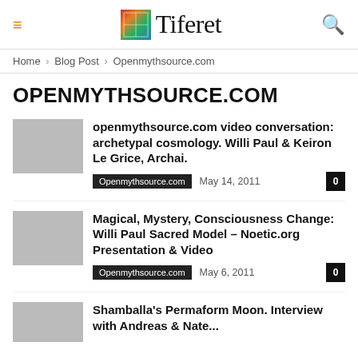Tiferet
Home › Blog Post › Openmythsource.com
OPENMYTHSOURCE.COM
openmythsource.com video conversation: archetypal cosmology. Willi Paul & Keiron Le Grice, Archai. | Openmythsource.com | May 14, 2011 | 0
Magical, Mystery, Consciousness Change: Willi Paul Sacred Model – Noetic.org Presentation & Video | Openmythsource.com | May 6, 2011 | 0
Shamballa's Permaform Moon. Interview with Andreas & Nate...